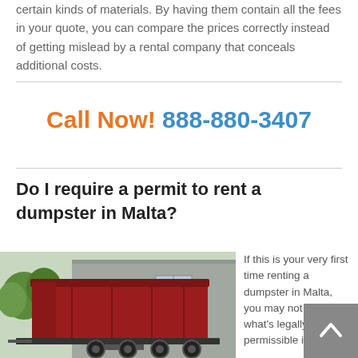certain kinds of materials. By having them contain all the fees in your quote, you can compare the prices correctly instead of getting mislead by a rental company that conceals additional costs.
Call Now! 888-880-3407
Do I require a permit to rent a dumpster in Malta?
[Figure (photo): A red roll-off dumpster on a trailer parked in front of a gray metal building.]
If this is your very first time renting a dumpster in Malta, you may not know what's legally permissible in